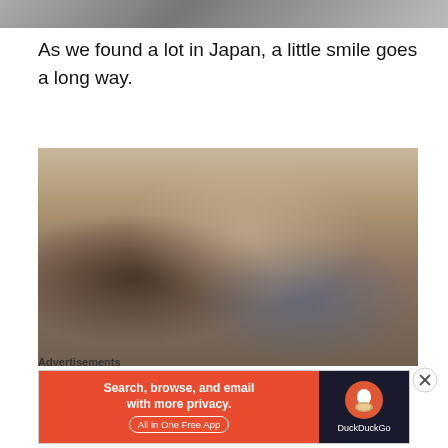[Figure (photo): Partial top of a photo showing people, cropped at the top of the page]
As we found a lot in Japan, a little smile goes a long way.
[Figure (photo): A Japanese family dressed in traditional kimono at a shrine. A man in a suit and a woman in dark clothing stand behind two children in formal kimono attire. A large tree trunk is visible on the left side.]
Advertisements
[Figure (screenshot): DuckDuckGo advertisement banner: 'Search, browse, and email with more privacy. All in One Free App' with DuckDuckGo logo on dark background on the right side.]